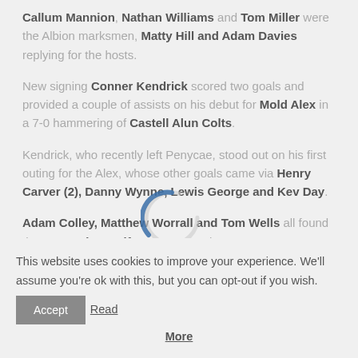Callum Mannion, Nathan Williams and Tom Miller were the Albion marksmen, Matty Hill and Adam Davies replying for the hosts.
New signing Conner Kendrick scored two goals and provided a couple of assists on his debut for Mold Alex in a 7-0 hammering of Castell Alun Colts.
Kendrick, who recently left Penycae, stood out on his first outing for the Alex, whose other goals came via Henry Carver (2), Danny Wynne, Lewis George and Kev Day.
Adam Colley, Matthew Worrall and Tom Wells all found the net as Llay Welfare progressed
This website uses cookies to improve your experience. We'll assume you're ok with this, but you can opt-out if you wish. Accept Read More